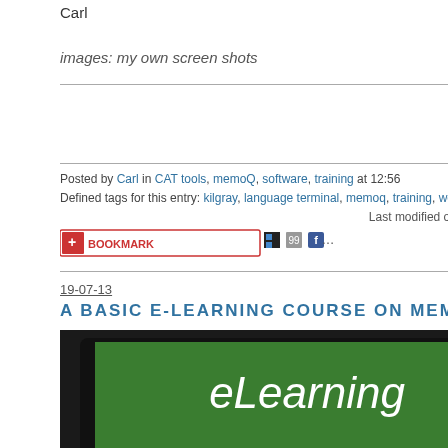Carl
images: my own screen shots
Posted by Carl in CAT tools, memoQ, software, training at 12:56
Defined tags for this entry: kilgray, language terminal, memoq, training, webinar
Last modified on 2014-02-11 14:13
[Figure (screenshot): Bookmark button with social sharing icons]
19-07-13
A BASIC E-LEARNING COURSE ON MEMOQ
[Figure (photo): eLearning concept image showing a green screen with 'eLearning' text on a tablet/keyboard device]
English and French - English) plus an English synonym dictionary. They're all free to use. I've often found the German-English one helpful.
VIEW WITH ANOTHER TEMPLATE
[Figure (screenshot): Language selector dropdown with 'E' selected and a Go! button]